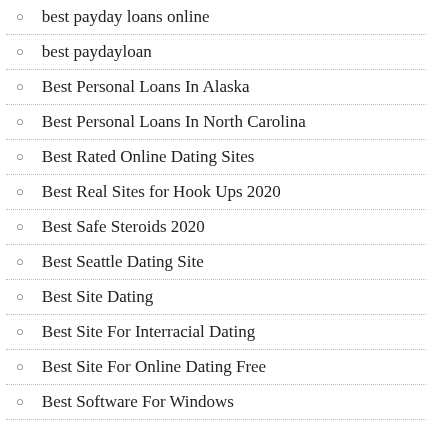best payday loans online
best paydayloan
Best Personal Loans In Alaska
Best Personal Loans In North Carolina
Best Rated Online Dating Sites
Best Real Sites for Hook Ups 2020
Best Safe Steroids 2020
Best Seattle Dating Site
Best Site Dating
Best Site For Interracial Dating
Best Site For Online Dating Free
Best Software For Windows